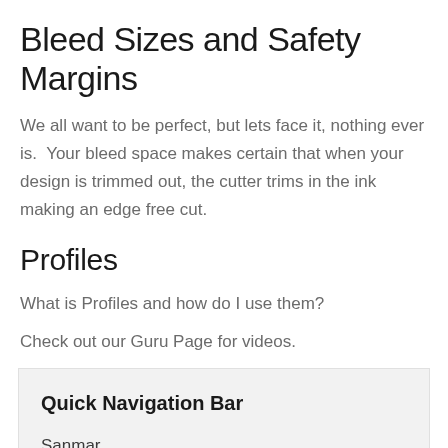Bleed Sizes and Safety Margins
We all want to be perfect, but lets face it, nothing ever is.  Your bleed space makes certain that when your design is trimmed out, the cutter trims in the ink making an edge free cut.
Profiles
What is Profiles and how do I use them?
Check out our Guru Page for videos.
[Figure (other): Quick Navigation Bar box with title 'Quick Navigation Bar' and text 'Sanmar']